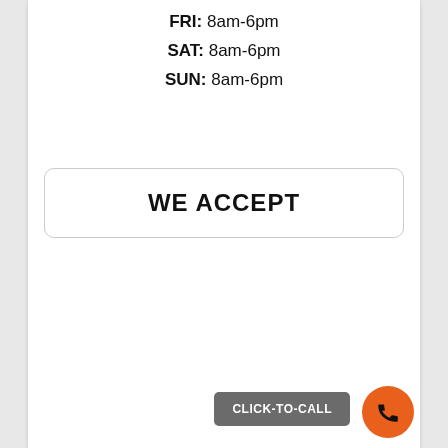FRI: 8am-6pm
SAT: 8am-6pm
SUN: 8am-6pm
WE ACCEPT
CLICK-TO-CALL